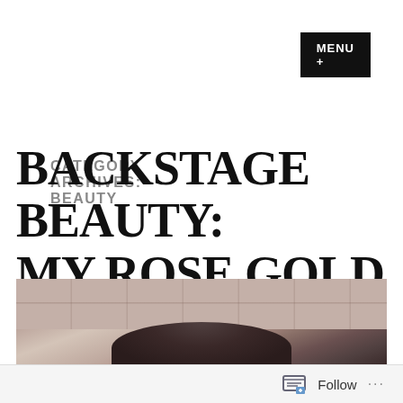MENU +
CATEGORY ARCHIVES:  BEAUTY
BACKSTAGE BEAUTY: MY ROSE GOLD HAIR
[Figure (photo): Photo of a person with dark hair standing in front of a stone/brick wall. Only the top of the head is visible, showing dark hair. The wall behind has a pinkish-beige stone texture.]
Follow ...